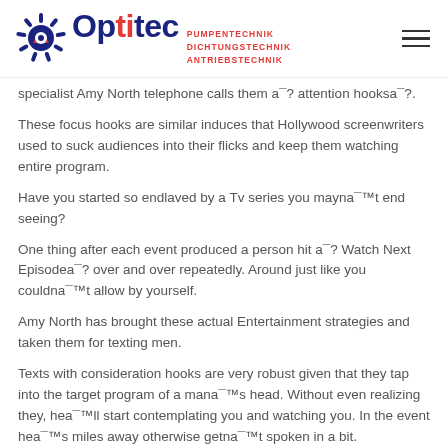Optitec PUMPENTECHNIK DICHTUNGSTECHNIK ANTRIEBSTECHNIK
specialist Amy North telephone calls them a¯? attention hooksa¯?.
These focus hooks are similar induces that Hollywood screenwriters used to suck audiences into their flicks and keep them watching entire program.
Have you started so endlaved by a Tv series you mayna¯™t end seeing?
One thing after each event produced a person hit a¯? Watch Next Episodea¯? over and over repeatedly. Around just like you couldna¯™t allow by yourself.
Amy North has brought these actual Entertainment strategies and taken them for texting men.
Texts with consideration hooks are very robust given that they tap into the target program of a mana¯™s head. Without even realizing they, hea¯™ll start contemplating you and watching you. In the event hea¯™s miles away otherwise getna¯™t spoken in a bit.